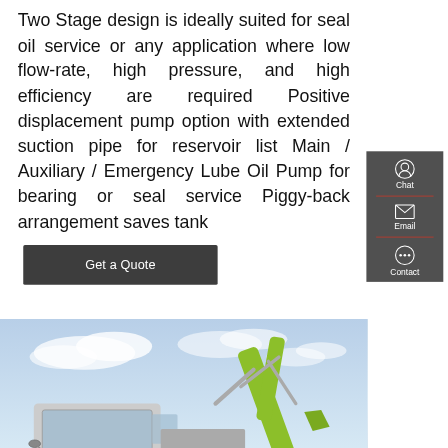Two Stage design is ideally suited for seal oil service or any application where low flow-rate, high pressure, and high efficiency are required Positive displacement pump option with extended suction pipe for reservoir list Main / Auxiliary / Emergency Lube Oil Pump for bearing or seal service Piggy-back arrangement saves tank
[Figure (other): Dark rounded rectangle button with white text saying 'Get a Quote']
[Figure (other): Sidebar with chat icon and 'Chat' label, email icon and 'Email' label, and contact icon and 'Contact' label, on dark gray background with red dividers]
[Figure (photo): Photo of a Zoomlion ZE205E-10 excavator with green arm and boom against a blue sky background]